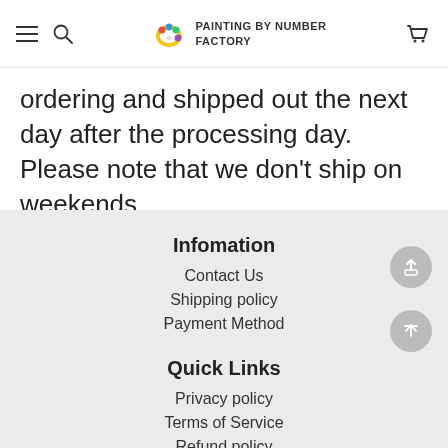Painting by Number Factory
ordering and shipped out the next day after the processing day. Please note that we don't ship on weekends.
Infomation
Contact Us
Shipping policy
Payment Method
Quick Links
Privacy policy
Terms of Service
Refund policy